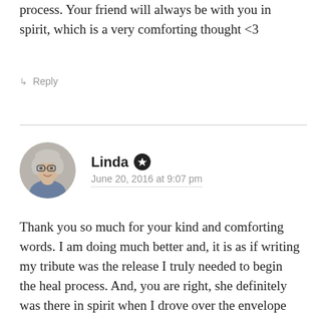process. Your friend will always be with you in spirit, which is a very comforting thought <3
↳ Reply
Linda · June 20, 2016 at 9:07 pm
[Figure (photo): Circular avatar photo of a woman with glasses and light gray hair]
Thank you so much for your kind and comforting words. I am doing much better and, it is as if writing my tribute was the release I truly needed to begin the heal process. And, you are right, she definitely was there in spirit when I drove over the envelope leaving the huge tire mark on it; I can easily picture her shaking her head at me while I was doing it, chuckling under her breath. She always enjoyed hearing about my latest